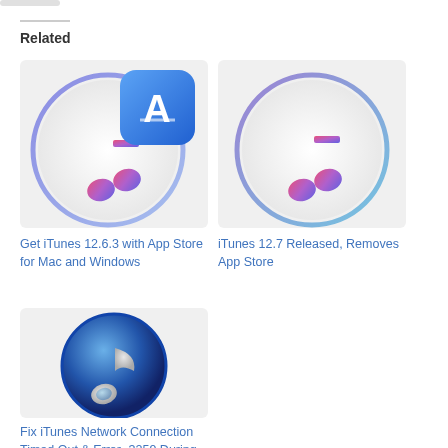Related
[Figure (illustration): iTunes 12.6.3 icon with App Store badge overlay - colorful music note with circle gradient]
Get iTunes 12.6.3 with App Store for Mac and Windows
[Figure (illustration): iTunes 12.7 icon - colorful music note with circle gradient]
iTunes 12.7 Released, Removes App Store
[Figure (illustration): Classic iTunes icon - blue circle with silver music note]
Fix iTunes Network Connection Timed Out & Error -3259 During iPhone Update